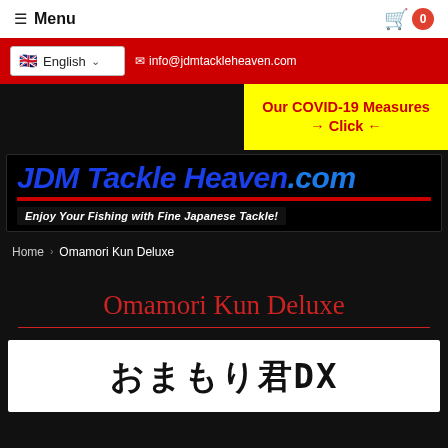Menu | Cart 0
English | info@jdmtackleheaven.com
[Figure (infographic): Yellow COVID-19 banner: Our COVID-19 Measures → Click ←]
[Figure (logo): JDM Tackle Heaven.com logo with tagline: Enjoy Your Fishing with Fine Japanese Tackle!]
Home › Omamori Kun Deluxe
Omamori Kun Deluxe
[Figure (photo): Product image showing Japanese text おまもり君DX (Omamori Kun Deluxe) in large black kanji on white background]